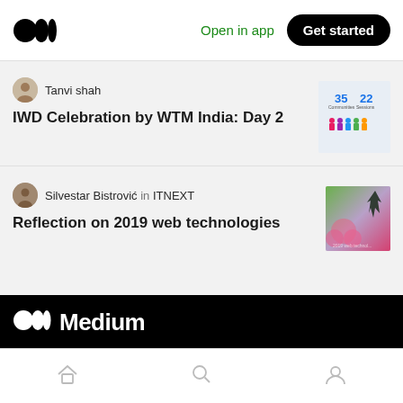Medium — Open in app | Get started
Tanvi shah
IWD Celebration by WTM India: Day 2
Silvestar Bistrović in ITNEXT
Reflection on 2019 web technologies
[Figure (logo): Medium logo in white on black banner with text 'Medium']
Bottom navigation bar with home, search, and profile icons